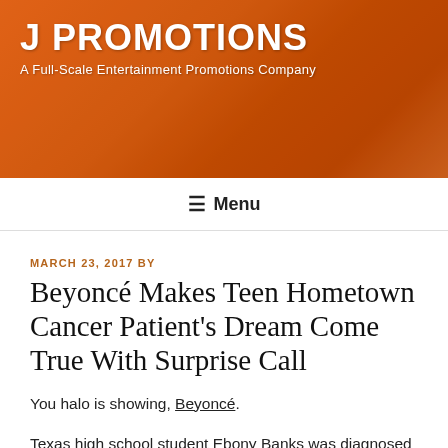[Figure (photo): Website header banner showing an orange t-shirt background with the J Promotions logo and site title overlay]
J PROMOTIONS
A Full-Scale Entertainment Promotions Company
≡ Menu
MARCH 23, 2017 BY
Beyoncé Makes Teen Hometown Cancer Patient's Dream Come True With Surprise Call
You halo is showing, Beyoncé.
Texas high school student Ebony Banks was diagnosed with with a rare form of stage 4 cancer that's kept her out of the classroom and in the hospital for much of her senior